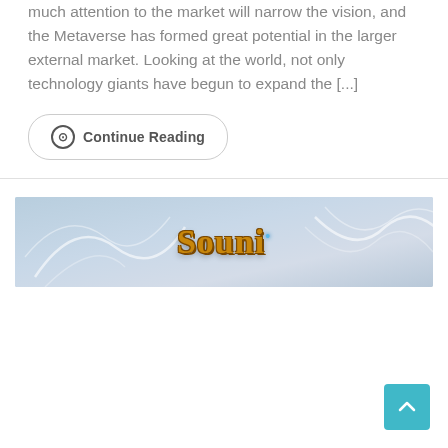much attention to the market will narrow the vision, and the Metaverse has formed great potential in the larger external market. Looking at the world, not only technology giants have begun to expand the [...]
⊙ Continue Reading
[Figure (illustration): Banner image with light blue/grey gradient background with white swirl decorations and golden stylized 'Souni' logo text with a small blue gem superscript]